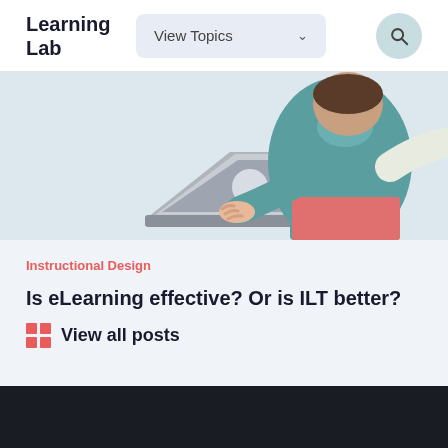Learning Lab
View Topics
[Figure (illustration): Person sitting at a laptop computer, wearing a teal top and red/pink skirt, illustration style]
Instructional Design
Is eLearning effective? Or is ILT better?
View all posts